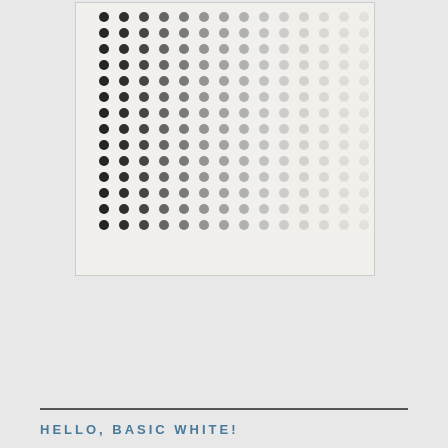[Figure (photo): Product photo of Classic Matte Dots showing a grid of graduated dot embellishments ranging from black on the left to light gray/white on the right, arranged in rows on a light beige background. Below the dot grid the product name and item number are printed.]
Classic Matte Dots
#158146
HELLO, BASIC WHITE!